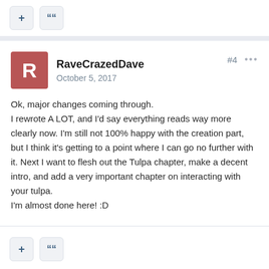Ok, major changes coming through.
I rewrote A LOT, and I'd say everything reads way more clearly now. I'm still not 100% happy with the creation part, but I think it's getting to a point where I can go no further with it. Next I want to flesh out the Tulpa chapter, make a decent intro, and add a very important chapter on interacting with your tulpa.
I'm almost done here! :D